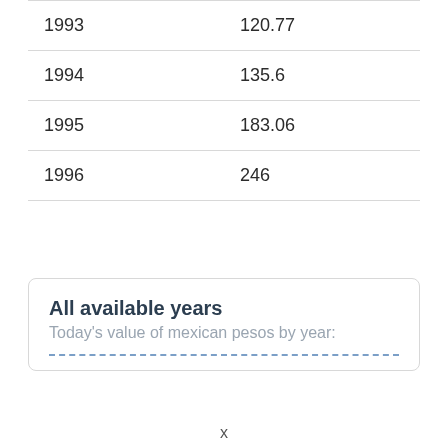| Year | Value |
| --- | --- |
| 1993 | 120.77 |
| 1994 | 135.6 |
| 1995 | 183.06 |
| 1996 | 246 |
All available years
Today's value of mexican pesos by year: